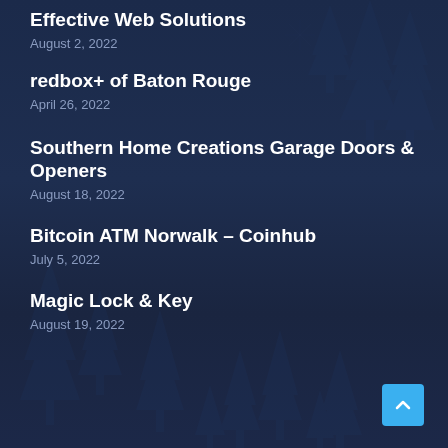Effective Web Solutions
August 2, 2022
redbox+ of Baton Rouge
April 26, 2022
Southern Home Creations Garage Doors & Openers
August 18, 2022
Bitcoin ATM Norwalk – Coinhub
July 5, 2022
Magic Lock & Key
August 19, 2022